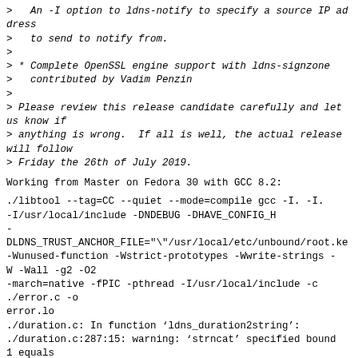>   An -I option to ldns-notify to specify a source IP address
>   to send to notify from.
>
> * Complete OpenSSL engine support with ldns-signzone
>   contributed by Vadim Penzin
>
> Please review this release candidate carefully and let us know if
> anything is wrong.  If all is well, the actual release will follow
> Friday the 26th of July 2019.
Working from Master on Fedora 30 with GCC 8.2:
./libtool --tag=CC --quiet --mode=compile gcc -I. -I.
-I/usr/local/include -DNDEBUG -DHAVE_CONFIG_H
-
DLDNS_TRUST_ANCHOR_FILE="\"/usr/local/etc/unbound/root.ke
-Wunused-function -Wstrict-prototypes -Wwrite-strings -W -Wall -g2 -O2
-march=native -fPIC -pthread -I/usr/local/include -c
./error.c -o
error.lo
./duration.c: In function 'ldns_duration2string':
./duration.c:287:15: warning: 'strncat' specified bound 1 equals
source length [-Wstringop-overflow=]
  287 |         str = strncat(str, "T", 1);
      |                ^~~~~~~~~~~~~~~~~~